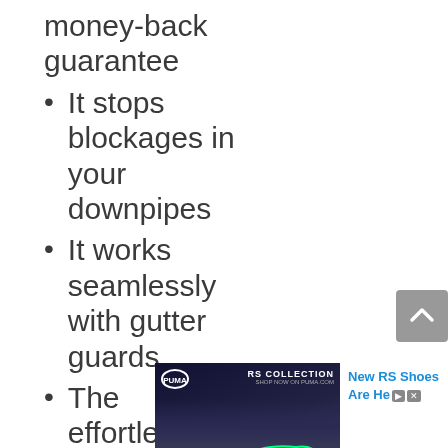money-back guarantee
It stops blockages in your downpipes
It works seamlessly with gutter guards
The effortless installation
[Figure (photo): Puma RS Collection advertisement showing running shoes with text 'New RS Shoes Are Here']